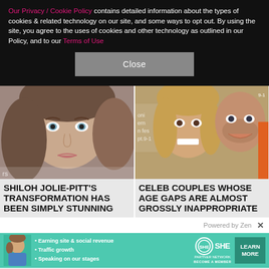Our Privacy / Cookie Policy contains detailed information about the types of cookies & related technology on our site, and some ways to opt out. By using the site, you agree to the uses of cookies and other technology as outlined in our Policy, and to our Terms of Use
Close
[Figure (photo): Close-up photo of a young woman with brown hair and blue eyes (Shiloh Jolie-Pitt)]
[Figure (photo): Photo of a smiling young woman and a man at what appears to be a film festival event]
SHILOH JOLIE-PITT'S TRANSFORMATION HAS BEEN SIMPLY STUNNING
CELEB COUPLES WHOSE AGE GAPS ARE ALMOST GROSSLY INAPPROPRIATE
Powered by Zen  X
[Figure (infographic): SHE Partner Network advertisement banner with bullet points: Earning site & social revenue, Traffic growth, Speaking on our stages. Includes LEARN MORE button.]